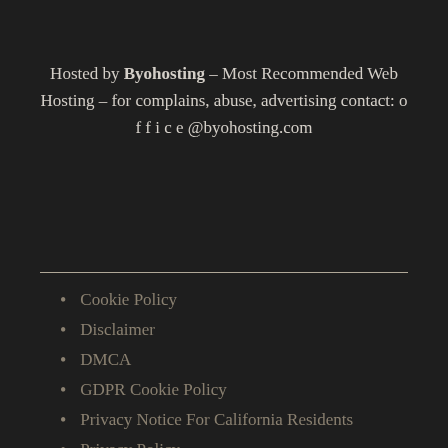Hosted by Byohosting – Most Recommended Web Hosting – for complains, abuse, advertising contact: o f f i c e @byohosting.com
Cookie Policy
Disclaimer
DMCA
GDPR Cookie Policy
Privacy Notice For California Residents
Privacy Policy